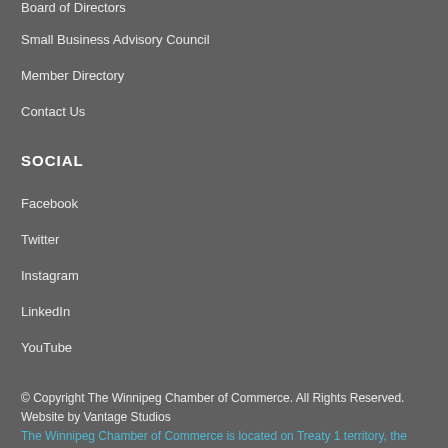Board of Directors
Small Business Advisory Council
Member Directory
Contact Us
SOCIAL
Facebook
Twitter
Instagram
LinkedIn
YouTube
© Copyright The Winnipeg Chamber of Commerce. All Rights Reserved. Website by Vantage Studios
The Winnipeg Chamber of Commerce is located on Treaty 1 territory, the traditional lands and waters of Anishinaabe, Ininiwak, Anishininiwak,